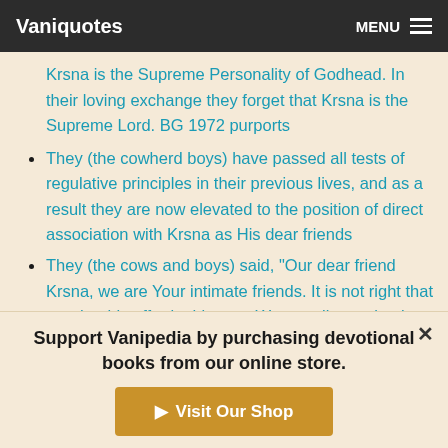Vaniquotes | MENU
Krsna is the Supreme Personality of Godhead. In their loving exchange they forget that Krsna is the Supreme Lord. BG 1972 purports
They (the cowherd boys) have passed all tests of regulative principles in their previous lives, and as a result they are now elevated to the position of direct association with Krsna as His dear friends
They (the cows and boys) said, "Our dear friend Krsna, we are Your intimate friends. It is not right that we should suffer in this way. We are all completely dependent on You, & You are the knower of all religious life. We do not know
Support Vanipedia by purchasing devotional books from our online store.
▶ Visit Our Shop